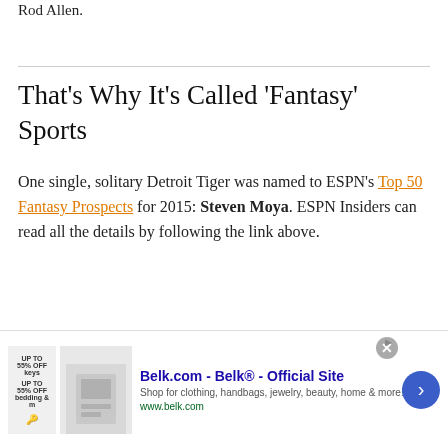Rod Allen.
That’s Why It’s Called ‘Fantasy’ Sports
One single, solitary Detroit Tiger was named to ESPN’s Top 50 Fantasy Prospects for 2015: Steven Moya. ESPN Insiders can read all the details by following the link above.
Have you subscribed to our YouTube
[Figure (screenshot): Advertisement banner for Belk.com showing product images, ad title 'Belk.com - Belk® - Official Site', description 'Shop for clothing, handbags, jewelry, beauty, home & more!', URL 'www.belk.com', with close button and navigation arrow.]